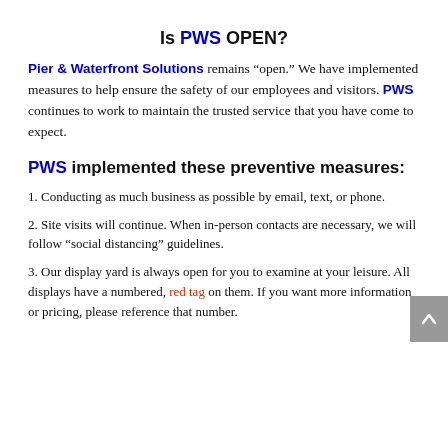Is PWS OPEN?
Pier & Waterfront Solutions remains “open.” We have implemented measures to help ensure the safety of our employees and visitors. PWS continues to work to maintain the trusted service that you have come to expect.
PWS implemented these preventive measures:
1. Conducting as much business as possible by email, text, or phone.
2. Site visits will continue. When in-person contacts are necessary, we will follow “social distancing” guidelines.
3. Our display yard is always open for you to examine at your leisure. All displays have a numbered, red tag on them. If you want more information or pricing, please reference that number.